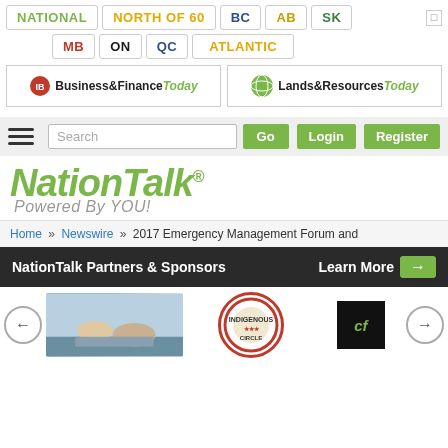[Figure (screenshot): Navigation bar with regional tabs: NATIONAL, NORTH OF 60, BC, AB, SK, MB, ON, QC, ATLANTIC]
[Figure (logo): Indigenous Business & Finance Today logo and Indigenous Lands & Resources Today logo]
[Figure (screenshot): Search bar with hamburger menu, Search input, Go button, Login and Register buttons]
[Figure (logo): NationTalk Powered By YOU! logo]
Home » Newswire » 2017 Emergency Management Forum and
NationTalk Partners & Sponsors
Learn More →
[Figure (screenshot): Sponsors strip with left/right navigation arrows and sponsor logos including a photo, a circular indigenous logo, and a dark square logo]